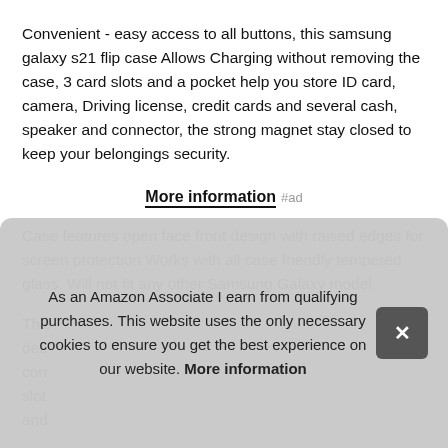Convenient - easy access to all buttons, this samsung galaxy s21 flip case Allows Charging without removing the case, 3 card slots and a pocket help you store ID card, camera, Driving license, credit cards and several cash, speaker and connector, the strong magnet stay closed to keep your belongings security.
More information #ad
Case features open face front design with raised edges for screen protection Works with all case friendly tempered glass. Will not fit any other Samsung Galaxy model.
This des corr slot and
As an Amazon Associate I earn from qualifying purchases. This website uses the only necessary cookies to ensure you get the best experience on our website. More information